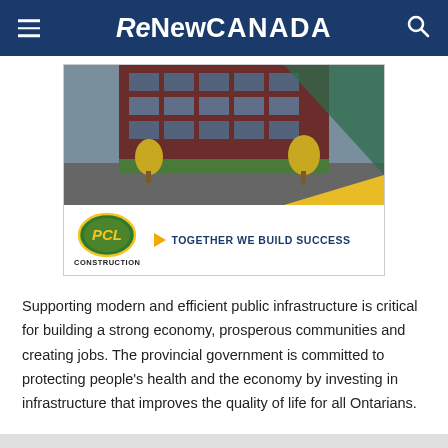ReNew CANADA
[Figure (illustration): PCL Construction advertisement showing a modern building with yellow trees, green diagonal design element, PCL logo, and tagline TOGETHER WE BUILD SUCCESS]
Supporting modern and efficient public infrastructure is critical for building a strong economy, prosperous communities and creating jobs. The provincial government is committed to protecting people's health and the economy by investing in infrastructure that improves the quality of life for all Ontarians.